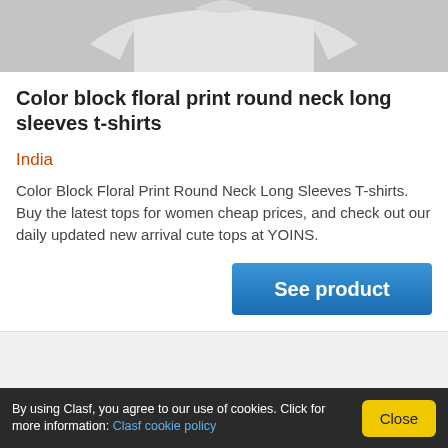[Figure (photo): Partial view of a white t-shirt product photo, showing the lower portion of the shirt on a gray background]
Color block floral print round neck long sleeves t-shirts
India
Color Block Floral Print Round Neck Long Sleeves T-shirts. Buy the latest tops for women cheap prices, and check out our daily updated new arrival cute tops at YOINS.
See product
By using Clasf, you agree to our use of cookies. Click for more information: Clasf cookie policy
Close